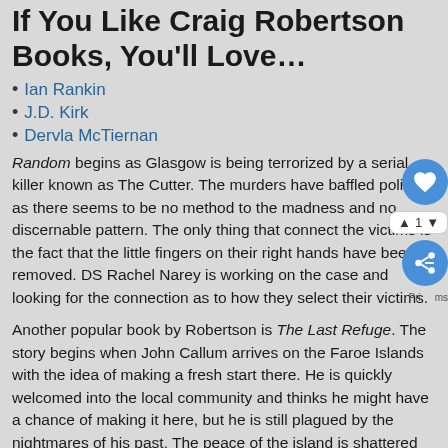If You Like Craig Robertson Books, You'll Love…
Ian Rankin
J.D. Kirk
Dervla McTiernan
Random begins as Glasgow is being terrorized by a serial killer known as The Cutter. The murders have baffled police as there seems to be no method to the madness and no discernable pattern. The only thing that connect the victims is the fact that the little fingers on their right hands have been removed. DS Rachel Narey is working on the case and looking for the connection as to how they select their victims.
Another popular book by Robertson is The Last Refuge. The story begins when John Callum arrives on the Faroe Islands with the idea of making a fresh start there. He is quickly welcomed into the local community and thinks he might have a chance of making it here, but he is still plagued by the nightmares of his past. The peace of the island is shattered one day by a murder. Now, a team of detectives from Denmark has arrived to investigate. The tight-knit community sees tension rises and